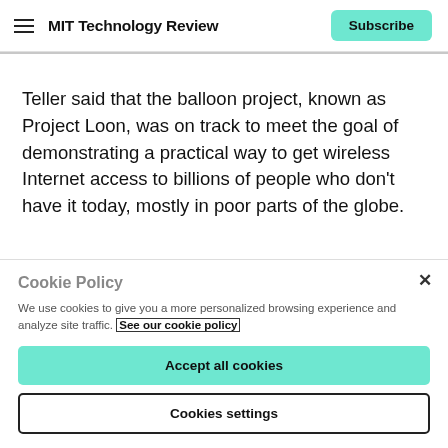MIT Technology Review | Subscribe
Teller said that the balloon project, known as Project Loon, was on track to meet the goal of demonstrating a practical way to get wireless Internet access to billions of people who don’t have it today, mostly in poor parts of the globe.
Cookie Policy
We use cookies to give you a more personalized browsing experience and analyze site traffic. See our cookie policy
Accept all cookies
Cookies settings